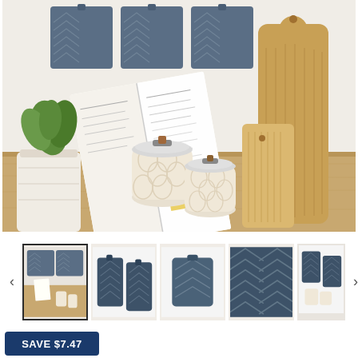[Figure (photo): Kitchen scene with dark blue/slate quilted pot holders hanging on a white wall, an open cookbook leaning against the wall, a potted green plant, two white ceramic canisters with buckle lids, and two wooden cutting boards of different sizes on a wooden countertop.]
[Figure (photo): Thumbnail image 1 (selected): wide kitchen scene with pot holders, book, canisters.]
[Figure (photo): Thumbnail image 2: two blue quilted pot holders laid flat.]
[Figure (photo): Thumbnail image 3: single blue quilted pot holder.]
[Figure (photo): Thumbnail image 4: close-up of blue quilted chevron fabric texture.]
[Figure (photo): Thumbnail image 5 (partial): blue pot holders from a different angle.]
SAVE $7.47